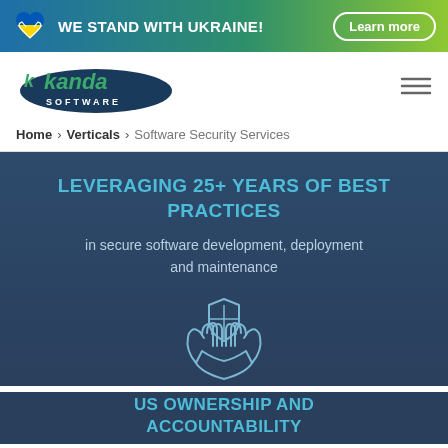WE STAND WITH UKRAINE! Learn more
[Figure (logo): Kanda Software logo with dark oval background]
Home > Verticals > Software Security Services
LEVERAGING 25+ YEARS OF BEST PRACTICES
in secure software development, deployment and maintenance
[Figure (illustration): Hands holding a shield icon, outline style in light blue/white on dark background]
US OWNERSHIP AND ACCOUNTABILITY